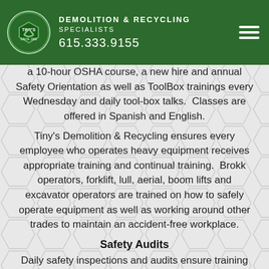TINY'S DEMOLITION & RECYCLING SPECIALISTS 615.333.9155
a 10-hour OSHA course, a new hire and annual Safety Orientation as well as ToolBox trainings every Wednesday and daily tool-box talks.  Classes are offered in Spanish and English.
Tiny's Demolition & Recycling ensures every employee who operates heavy equipment receives appropriate training and continual training.  Brokk operators, forklift, lull, aerial, boom lifts and excavator operators are trained on how to safely operate equipment as well as working around other trades to maintain an accident-free workplace.
Safety Audits
Daily safety inspections and audits ensure training and safe procedures are